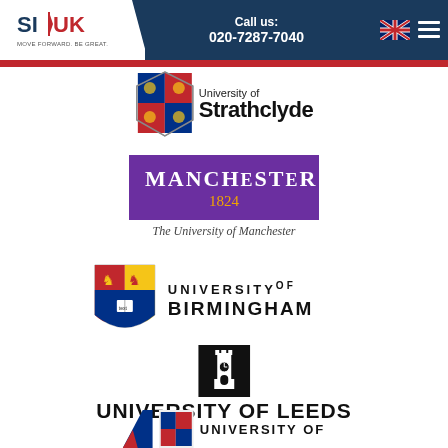[Figure (logo): SI-UK logo in header - white background with SI-UK text and 'Move Forward. Be Great.' tagline]
Call us:
020-7287-7040
[Figure (logo): UK flag icon and hamburger menu icon in header]
[Figure (logo): University of Strathclyde logo with crest and text]
[Figure (logo): University of Manchester logo - purple box with MANCHESTER 1824 text]
[Figure (logo): University of Birmingham logo with shield crest and text]
[Figure (logo): University of Leeds logo with tower icon and bold text]
[Figure (logo): Partial University of (bottom, cut off) logo]